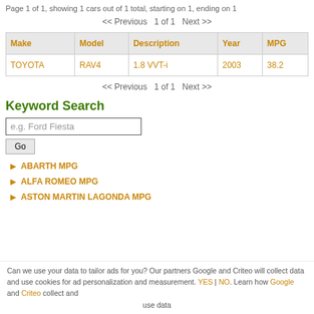Page 1 of 1, showing 1 cars out of 1 total, starting on 1, ending on 1
<< Previous  1 of 1  Next >>
| Make | Model | Description | Year | MPG |
| --- | --- | --- | --- | --- |
| TOYOTA | RAV4 | 1.8 VVT-i | 2003 | 38.2 |
<< Previous  1 of 1  Next >>
Keyword Search
ABARTH MPG
ALFA ROMEO MPG
ASTON MARTIN LAGONDA MPG
Can we use your data to tailor ads for you? Our partners Google and Criteo will collect data and use cookies for ad personalization and measurement. YES | NO. Learn how Google and Criteo collect and use data